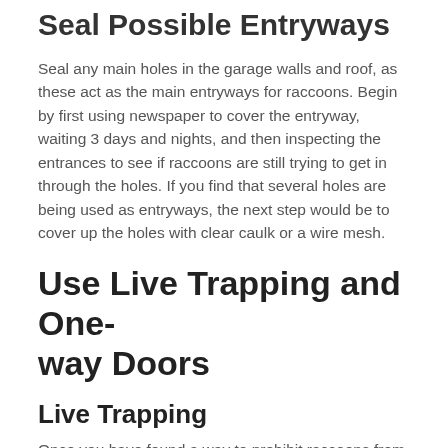Seal Possible Entryways
Seal any main holes in the garage walls and roof, as these act as the main entryways for raccoons. Begin by first using newspaper to cover the entryway, waiting 3 days and nights, and then inspecting the entrances to see if raccoons are still trying to get in through the holes. If you find that several holes are being used as entryways, the next step would be to cover up the holes with clear caulk or a wire mesh.
Use Live Trapping and One-way Doors
Live Trapping
Once you have found a way to prohibit raccoons from entering, get rid of any remaining raccoons that may still be residing inside the garage with cage traps. Once